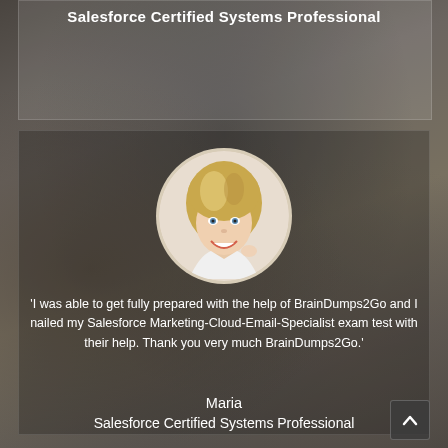Salesforce Certified Systems Professional
[Figure (photo): Circular profile photo of a smiling blonde woman (Maria), posed with hand near chin against white background]
'I was able to get fully prepared with the help of BrainDumps2Go and I nailed my Salesforce Marketing-Cloud-Email-Specialist exam test with their help. Thank you very much BrainDumps2Go.'
Maria
Salesforce Certified Systems Professional